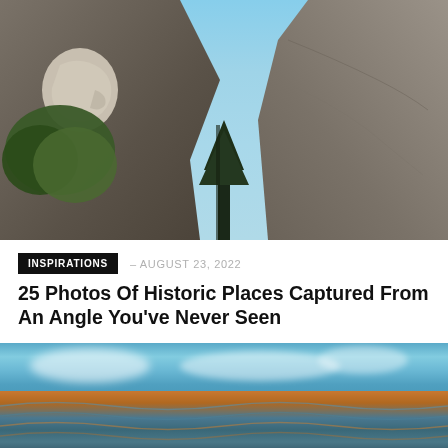[Figure (photo): Upward angle photo of Mount Rushmore showing Washington's carved face profile on the left, surrounded by rock formations and trees, with blue sky visible between the rocks]
INSPIRATIONS — AUGUST 23, 2022
25 Photos Of Historic Places Captured From An Angle You've Never Seen
[Figure (photo): Colorful abstract or aerial landscape photo showing turquoise blue sky with clouds reflected over terrain with orange and blue tones]